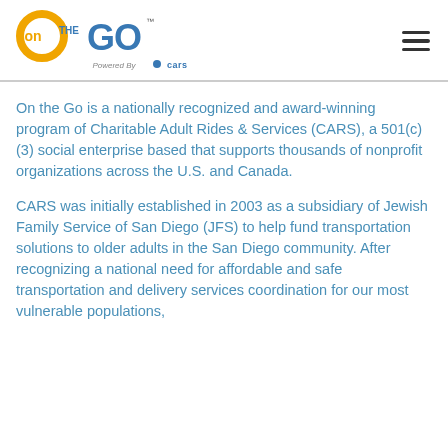[Figure (logo): On the Go logo — orange and yellow circle with 'on' text, blue 'THE GO' text with TM mark, and 'Powered By CARS' subtitle]
On the Go is a nationally recognized and award-winning program of Charitable Adult Rides & Services (CARS), a 501(c)(3) social enterprise based that supports thousands of nonprofit organizations across the U.S. and Canada.
CARS was initially established in 2003 as a subsidiary of Jewish Family Service of San Diego (JFS) to help fund transportation solutions to older adults in the San Diego community. After recognizing a national need for affordable and safe transportation and delivery services coordination for our most vulnerable populations,